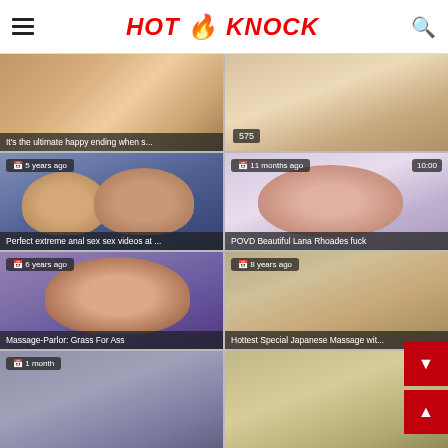HOT KNOCK
[Figure (screenshot): Video thumbnail - massage/spa scene with text overlay: It's the ultimate happy ending when s...]
[Figure (screenshot): Video thumbnail - close-up skin scene with views overlay: 575]
[Figure (screenshot): Video thumbnail - two people, date: 5 years ago, title: Perfect extreme anal sex sex videos at ...]
[Figure (screenshot): Video thumbnail - woman in bikini indoors, date: 11 months ago, duration: 10:00, title: POVD Beautiful Lana Rhoades fuck]
[Figure (screenshot): Video thumbnail - closeup face scene, date: 6 years ago, title: Massage-Parlor: Grass For Ass]
[Figure (screenshot): Video thumbnail - massage spa scene, date: 8 years ago, title: Hottest Special Japanese Massage wit...]
[Figure (screenshot): Video thumbnail row - partial, date visible, bottom of page]